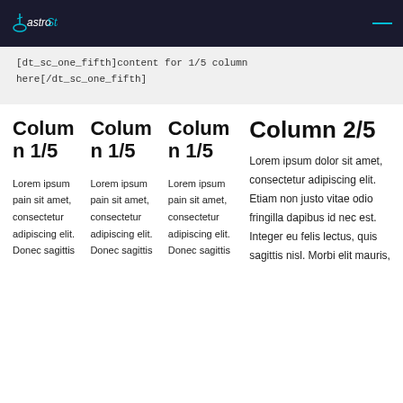GastroStar
[dt_sc_one_fifth]content for 1/5 column here[/dt_sc_one_fifth]
Column 1/5
Lorem ipsum pain sit amet, consectetur adipiscing elit. Donec sagittis
Column 1/5
Lorem ipsum pain sit amet, consectetur adipiscing elit. Donec sagittis
Column 1/5
Lorem ipsum pain sit amet, consectetur adipiscing elit. Donec sagittis
Column 2/5
Lorem ipsum dolor sit amet, consectetur adipiscing elit. Etiam non justo vitae odio fringilla dapibus id nec est. Integer eu felis lectus, quis sagittis nisl. Morbi elit mauris,